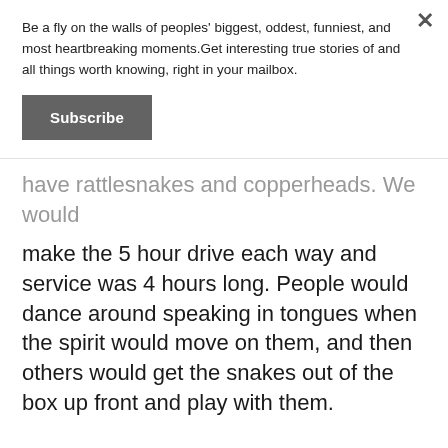Be a fly on the walls of peoples' biggest, oddest, funniest, and most heartbreaking moments.Get interesting true stories of and all things worth knowing, right in your mailbox.
Subscribe
have rattlesnakes and copperheads. We would make the 5 hour drive each way and service was 4 hours long. People would dance around speaking in tongues when the spirit would move on them, and then others would get the snakes out of the box up front and play with them.
It wasnt scary, because it was all I ever knew. Then one day when I was 13 I realized it was all a sham. There was a new family there, who had just moved into the town and were looking for a